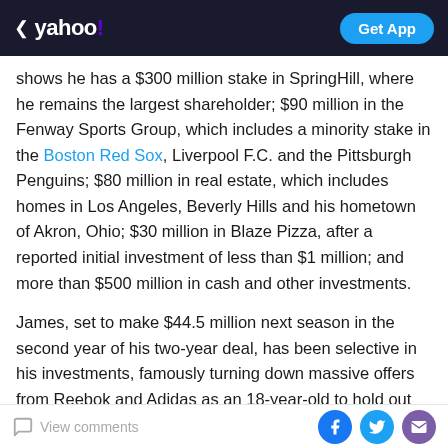< yahoo! | Get App
shows he has a $300 million stake in SpringHill, where he remains the largest shareholder; $90 million in the Fenway Sports Group, which includes a minority stake in the Boston Red Sox, Liverpool F.C. and the Pittsburgh Penguins; $80 million in real estate, which includes homes in Los Angeles, Beverly Hills and his hometown of Akron, Ohio; $30 million in Blaze Pizza, after a reported initial investment of less than $1 million; and more than $500 million in cash and other investments.
James, set to make $44.5 million next season in the second year of his two-year deal, has been selective in his investments, famously turning down massive offers from Reebok and Adidas as an 18-year-old to hold out for
View comments